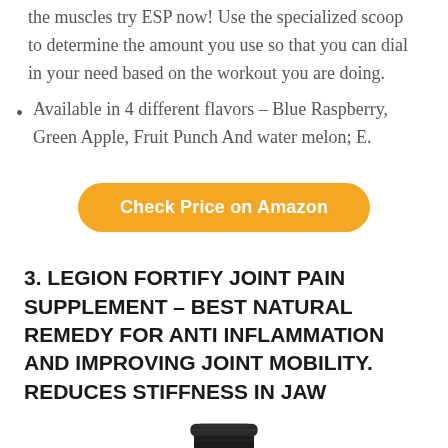the muscles try ESP now! Use the specialized scoop to determine the amount you use so that you can dial in your need based on the workout you are doing.
Available in 4 different flavors – Blue Raspberry, Green Apple, Fruit Punch And water melon; E.
Check Price on Amazon
3. LEGION FORTIFY JOINT PAIN SUPPLEMENT – BEST NATURAL REMEDY FOR ANTI INFLAMMATION AND IMPROVING JOINT MOBILITY. REDUCES STIFFNESS IN JAW
[Figure (photo): Product image of a black supplement container]